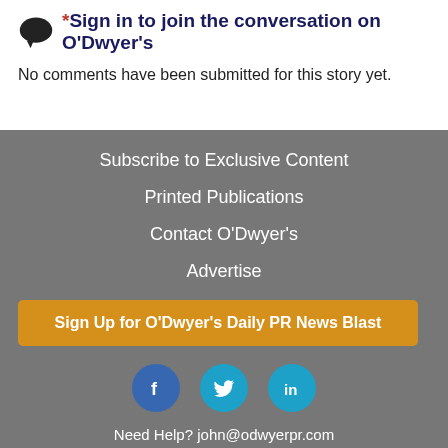*Sign in to join the conversation on O'Dwyer's
No comments have been submitted for this story yet.
Subscribe to Exclusive Content
Printed Publications
Contact O'Dwyer's
Advertise
Sign Up for O'Dwyer's Daily PR News Blast
[Figure (illustration): Social media icons: Facebook, Twitter, LinkedIn]
Need Help? john@odwyerpr.com